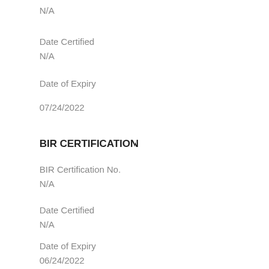N/A
Date Certified
N/A
Date of Expiry
07/24/2022
BIR CERTIFICATION
BIR Certification No.
N/A
Date Certified
N/A
Date of Expiry
06/24/2022